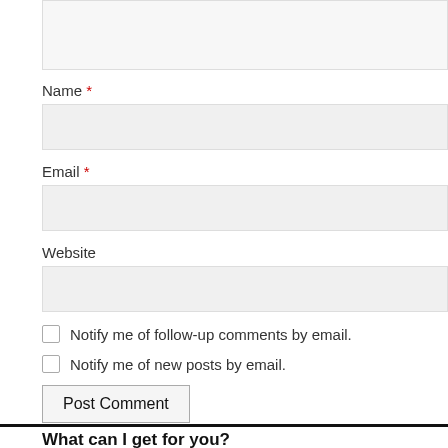[Figure (screenshot): Top portion of a comment form textarea (partially visible, cropped at top)]
Name *
[Figure (screenshot): Name text input field]
Email *
[Figure (screenshot): Email text input field]
Website
[Figure (screenshot): Website text input field]
Notify me of follow-up comments by email.
Notify me of new posts by email.
Post Comment
What can I get for you?